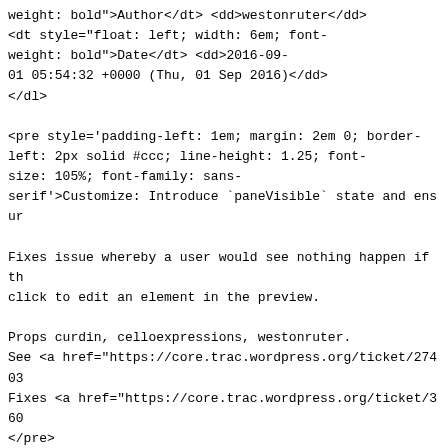weight: bold">Author</dt> <dd>westonruter</dd>
<dt style="float: left; width: 6em; font-weight: bold">Date</dt> <dd>2016-09-01 05:54:32 +0000 (Thu, 01 Sep 2016)</dd>
</dl>

<pre style='padding-left: 1em; margin: 2em 0; border-left: 2px solid #ccc; line-height: 1.25; font-size: 105%; font-family: sans-serif'>Customize: Introduce `paneVisible` state and ensur

Fixes issue whereby a user would see nothing happen if th click to edit an element in the preview.

Props curdin, celloexpressions, westonruter.
See <a href="https://core.trac.wordpress.org/ticket/27403
Fixes <a href="https://core.trac.wordpress.org/ticket/360
</pre>

<h3>Modified Paths</h3>
<ul>
<li>
<a href="#trunksrcwpadminjscustomizecontrolsjs">trunk/src admin/js/customize-controls.js</a></li>
</ul>

</div>
<div id="patch">
<h3>Diff</h3>
<a id="trunksrcwpadminjscustomizecontrolsjs"></a>